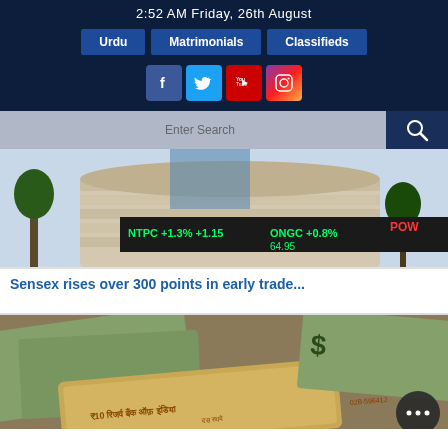2:52 AM Friday, 26th August
Urdu
Matrimonials
Classifieds
[Figure (screenshot): Social media icons: Facebook, Twitter, YouTube, Instagram]
[Figure (screenshot): Search bar with search icon]
[Figure (photo): Photo of Bombay Stock Exchange building with stock ticker showing NTPC +1.3%, ONGC +0.8%, 64.95]
Sensex rises over 300 points in early trade...
[Figure (photo): Photo of Indian and US currency notes including Indian rupee 10 note with Reserve Bank of India text and US dollar bills]